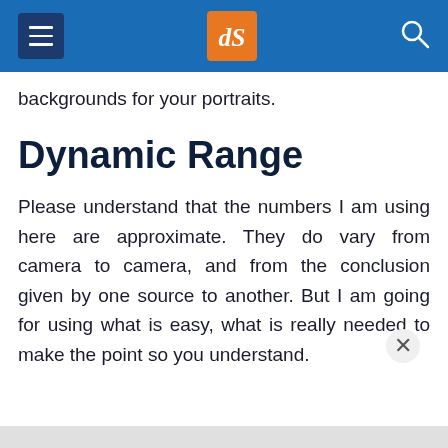dPS
backgrounds for your portraits.
Dynamic Range
Please understand that the numbers I am using here are approximate. They do vary from camera to camera, and from the conclusion given by one source to another. But I am going for using what is easy, what is really needed to make the point so you understand.